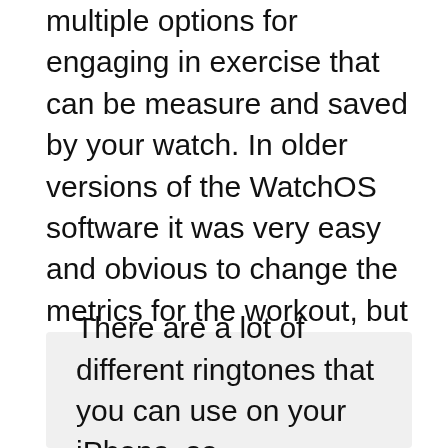multiple options for engaging in exercise that can be measure and saved by your watch. In older versions of the WatchOS software it was very easy and obvious to change the metrics for the workout, but that has changed slightly in newer versions of WatchOS.
Fortunately you are still able to change the goals that you want to reach with your workout. Our tutorial below will show you how to set a target distance, time, or caloric burn for your workout so that you can try and get that 100%.
There are a lot of different ringtones that you can use on your iPhone, so